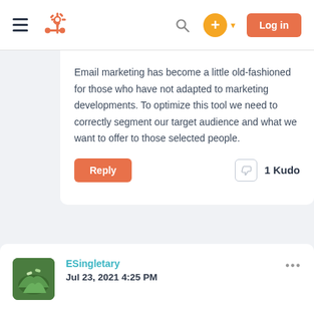[Figure (screenshot): HubSpot community forum navigation bar with hamburger menu, HubSpot logo, search icon, plus button, and orange Log in button]
Email marketing has become a little old-fashioned for those who have not adapted to marketing developments. To optimize this tool we need to correctly segment our target audience and what we want to offer to those selected people.
Reply   1 Kudo
ESingletary
Jul 23, 2021 4:25 PM